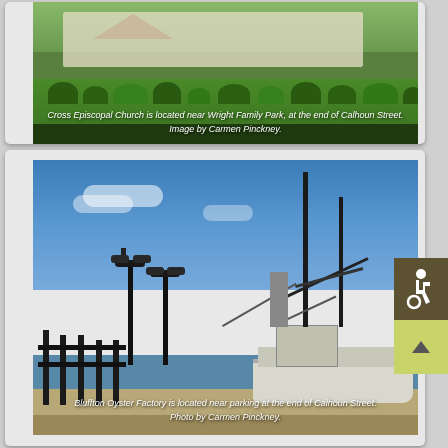[Figure (photo): Aerial/ground view of Holy Cross Episcopal Church near Wright Family Park, with green lawn and landscaping. Text overlay reads: 'Cross Episcopal Church is located near Wright Family Park, at the end of Calhoun Street. Image by Carmen Pinckney.']
[Figure (photo): Photo of Bluffton Oyster Factory with a large shrimp boat docked at the waterfront under a blue sky. Text overlay reads: 'Bluffton Oyster Factory is located near parking at the end of Calhoun Street. Photo by Carmen Pinckney.']